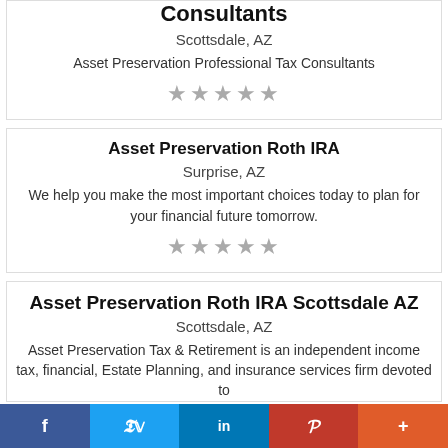Consultants
Scottsdale, AZ
Asset Preservation Professional Tax Consultants
★★★★★
Asset Preservation Roth IRA
Surprise, AZ
We help you make the most important choices today to plan for your financial future tomorrow.
★★★★★
Asset Preservation Roth IRA Scottsdale AZ
Scottsdale, AZ
Asset Preservation Tax & Retirement is an independent income tax, financial, Estate Planning, and insurance services firm devoted to
[Figure (infographic): Social sharing bar with Facebook, Twitter, LinkedIn, Pinterest, and More buttons]